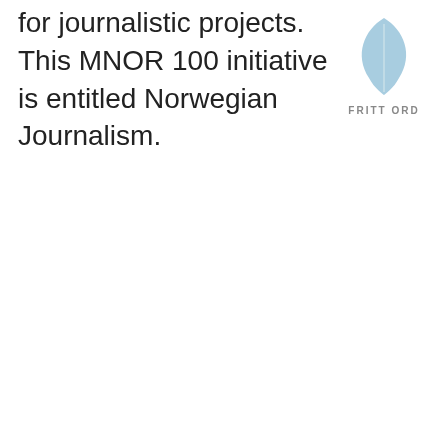for journalistic projects. This MNOR 100 initiative is entitled Norwegian Journalism.
[Figure (logo): Fritt Ord foundation logo: a light blue leaf/feather shape above the text FRITT ORD in spaced grey capital letters]